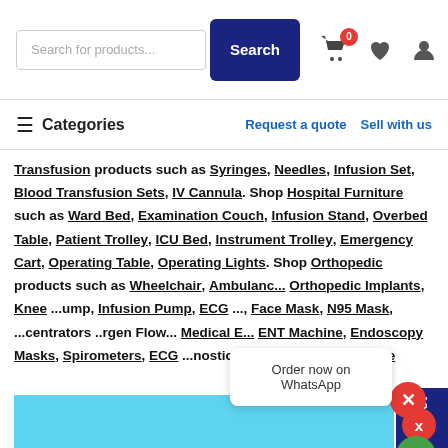Search for products... Search
≡ Categories   Request a quote   Sell with us
Transfusion products such as Syringes, Needles, Infusion Set, Blood Transfusion Sets, IV Cannula. Shop Hospital Furniture such as Ward Bed, Examination Couch, Infusion Stand, Overbed Table, Patient Trolley, ICU Bed, Instrument Trolley, Emergency Cart, Operating Table, Operating Lights. Shop Orthopedic products such as Wheelchair, Ambulance Stretcher, Orthopedic Implants, Knee ...ump, Infusion Pump, ECG ..., Face Mask, N95 Mask, ...centrators ..rgen Flow... Medical E... ENT Machine, Endoscopy Masks, Spirometers, ECG ...nostic products such as Mobile ...